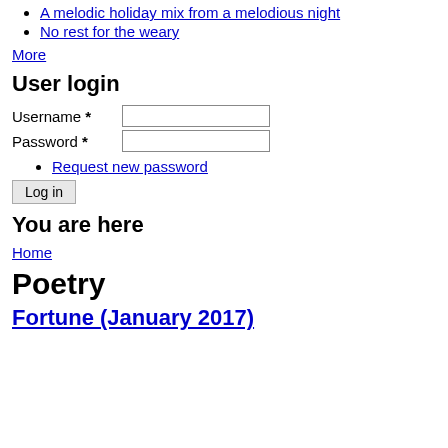A melodic holiday mix from a melodious night
No rest for the weary
More
User login
Username *
Password *
Request new password
Log in
You are here
Home
Poetry
Fortune (January 2017)